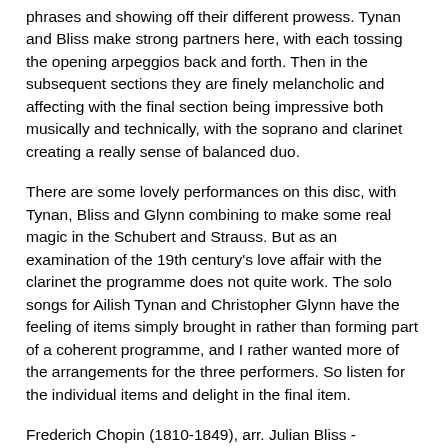phrases and showing off their different prowess. Tynan and Bliss make strong partners here, with each tossing the opening arpeggios back and forth. Then in the subsequent sections they are finely melancholic and affecting with the final section being impressive both musically and technically, with the soprano and clarinet creating a really sense of balanced duo.
There are some lovely performances on this disc, with Tynan, Bliss and Glynn combining to make some real magic in the Schubert and Strauss. But as an examination of the 19th century's love affair with the clarinet the programme does not quite work. The solo songs for Ailish Tynan and Christopher Glynn have the feeling of items simply brought in rather than forming part of a coherent programme, and I rather wanted more of the arrangements for the three performers. So listen for the individual items and delight in the final item.
Frederich Chopin (1810-1849), arr. Julian Bliss - Introduction and Polonaise brillante in C major, Op.3
Johannes Brahms (1833-1897) - Das Maedchen spricht, Op